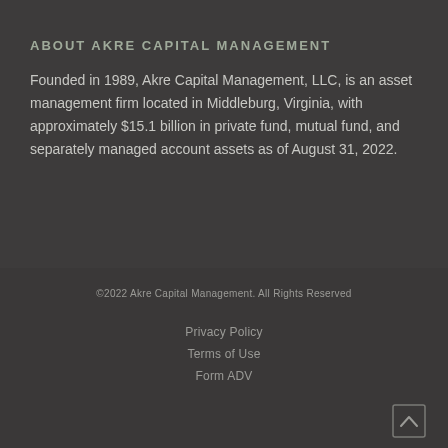ABOUT AKRE CAPITAL MANAGEMENT
Founded in 1989, Akre Capital Management, LLC, is an asset management firm located in Middleburg, Virginia, with approximately $15.1 billion in private fund, mutual fund, and separately managed account assets as of August 31, 2022.
©2022 Akre Capital Management. All Rights Reserved
Privacy Policy
Terms of Use
Form ADV